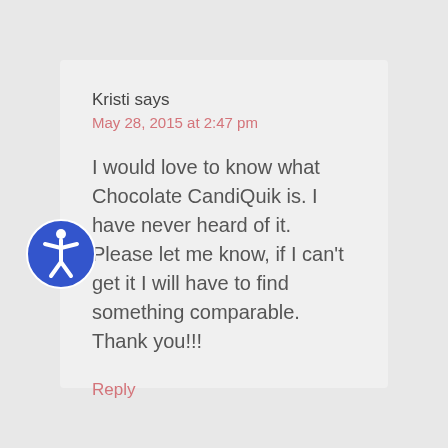Kristi says
May 28, 2015 at 2:47 pm
I would love to know what Chocolate CandiQuik is. I have never heard of it. Please let me know, if I can't get it I will have to find something comparable. Thank you!!!
Reply